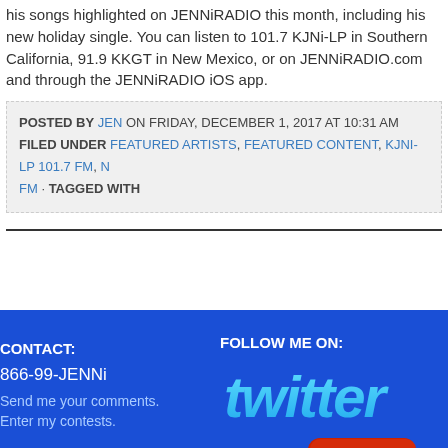his songs highlighted on JENNiRADIO this month, including his new holiday single. You can listen to 101.7 KJNi-LP in Southern California, 91.9 KKGT in New Mexico, or on JENNiRADIO.com and through the JENNiRADIO iOS app.
POSTED BY JEN ON FRIDAY, DECEMBER 1, 2017 AT 10:31 AM
FILED UNDER FEATURED ARTISTS, FEATURED CONTENT, KJNI-LP 101.7 FM, N... FM · TAGGED WITH
CONTACT:
866-99-JENNi
Send me your comments.
Enter my contests.
FOLLOW ME ON:
[Figure (logo): Twitter logo in cyan/light blue text on blue background]
[Figure (logo): YouTube logo - red rounded rectangle with white 'Tube' text and dark 'You' text]